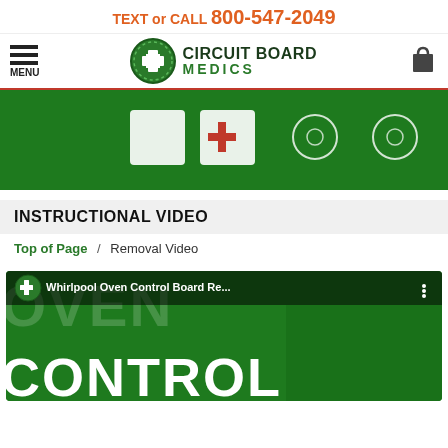TEXT or CALL 800-547-2049
[Figure (logo): Circuit Board Medics logo with green cross in circle and company name]
[Figure (photo): Green circuit board banner image showing white card components on green background]
INSTRUCTIONAL VIDEO
Top of Page / Removal Video
[Figure (screenshot): Video thumbnail showing Circuit Board Medics logo and text 'Whirlpool Oven Control Board Re...' with CONTROL text overlay on green background]